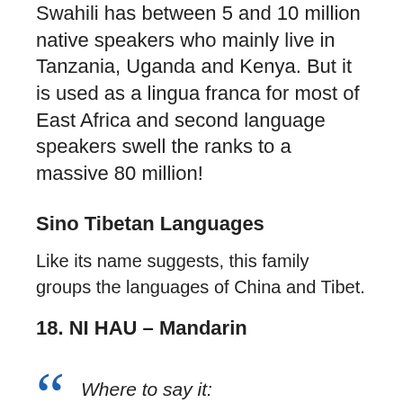Swahili has between 5 and 10 million native speakers who mainly live in Tanzania, Uganda and Kenya. But it is used as a lingua franca for most of East Africa and second language speakers swell the ranks to a massive 80 million!
Sino Tibetan Languages
Like its name suggests, this family groups the languages of China and Tibet.
18. NI HAU – Mandarin
Where to say it: